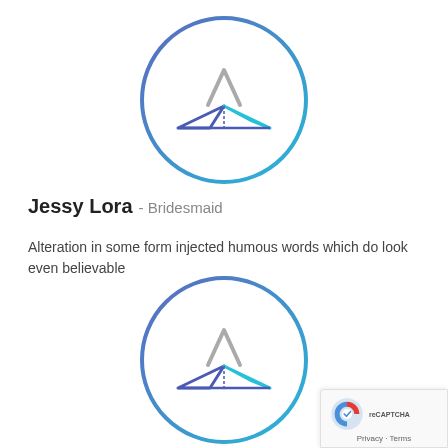[Figure (logo): Circular logo with gradient blue border, grey chevron/mountain symbol and blue-to-teal paper boat / origami arrow shape inside]
Jessy Lora · Bridesmaid
Alteration in some form injected humous words which do look even believable
[Figure (logo): Same circular logo as above, partially visible at bottom of page]